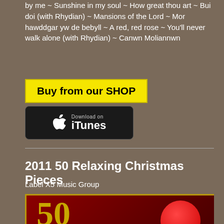by me ~ Sunshine in my soul ~ How great thou art ~ Bui doi (with Rhydian) ~ Mansions of the Lord ~ Mor hawddgar yw de bebyll ~ A red, red rose ~ You'll never walk alone (with Rhydian) ~ Canwn Moliannwn
[Figure (other): Yellow button with black bold text: Buy from our SHOP]
[Figure (logo): Download on iTunes badge with Apple logo]
2011  50 Relaxing Christmas Pieces
Label X5 Music Group
MP3 Album compilation
Arists include Morriston Orpheus Choir, St Paul's Cathedral Choir, St Peter's Choir Oxford,  Bonn Classical Philharmonic Orchestra, Atlanta Symphony Chorus, Royal Philharmonic Orchestra and more
[Figure (photo): Album cover for 50 Relaxing Christmas Pieces showing number 50 in gold on dark red background with a red ornament]